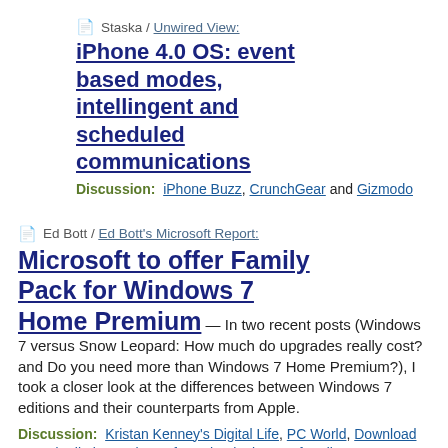📄 Staska / Unwired View: iPhone 4.0 OS: event based modes, intellingent and scheduled communications
Discussion: iPhone Buzz, CrunchGear and Gizmodo
📄 Ed Bott / Ed Bott's Microsoft Report: Microsoft to offer Family Pack for Windows 7 Home Premium — In two recent posts (Windows 7 versus Snow Leopard: How much do upgrades really cost? and Do you need more than Windows 7 Home Premium?), I took a closer look at the differences between Windows 7 editions and their counterparts from Apple.
Discussion: Kristan Kenney's Digital Life, PC World, Download Squad, All about Microsoft, Technologizer, Softpedia News, Techgeist, jkOnTheRun, CNET News, ithinkdifferent, Lockergnome Blog